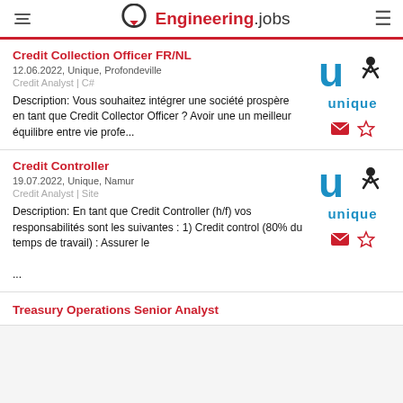Engineering.jobs
Credit Collection Officer FR/NL
12.06.2022, Unique, Profondeville
Credit Analyst | C#
Description: Vous souhaitez intégrer une société prospère en tant que Credit Collector Officer ? Avoir une un meilleur équilibre entre vie profe...
[Figure (logo): Unique staffing company logo — letter u with person icon, text 'unique' in blue]
Credit Controller
19.07.2022, Unique, Namur
Credit Analyst | Site
Description: En tant que Credit Controller (h/f) vos responsabilités sont les suivantes : 1) Credit control (80% du temps de travail) : Assurer le ...
[Figure (logo): Unique staffing company logo — letter u with person icon, text 'unique' in blue]
Treasury Operations Senior Analyst